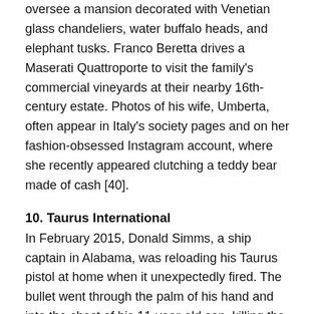oversee a mansion decorated with Venetian glass chandeliers, water buffalo heads, and elephant tusks. Franco Beretta drives a Maserati Quattroporte to visit the family's commercial vineyards at their nearby 16th-century estate. Photos of his wife, Umberta, often appear in Italy's society pages and on her fashion-obsessed Instagram account, where she recently appeared clutching a teddy bear made of cash [40].
10. Taurus International
In February 2015, Donald Simms, a ship captain in Alabama, was reloading his Taurus pistol at home when it unexpectedly fired. The bullet went through the palm of his hand and into the chest of his 11-year-old son, killing the boy. Simms sued the company [41], claiming a flaw in the gun's internal safety mechanisms caused his son's death. The suit is one of numerous cases alleging that Taurus